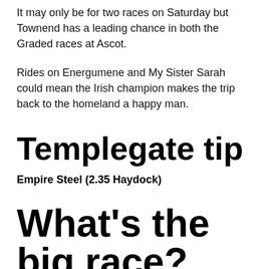It may only be for two races on Saturday but Townend has a leading chance in both the Graded races at Ascot.
Rides on Energumene and My Sister Sarah could mean the Irish champion makes the trip back to the homeland a happy man.
Templegate tip
Empire Steel (2.35 Haydock)
What's the big race?